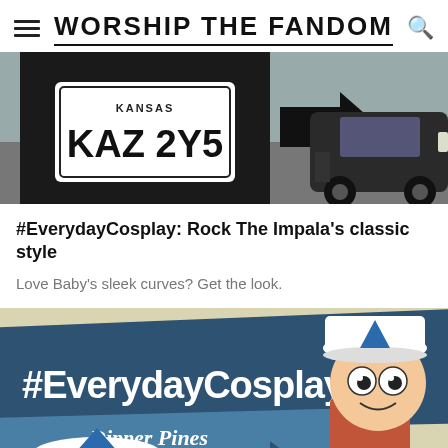WORSHIP THE FANDOM
[Figure (photo): Person wearing a black KAZ 2Y5 Kansas license plate tank top with a large black arrow, and a classic black car (Impala) in the background on a road.]
#EverydayCosplay: Rock The Impala's classic style
Love Baby's sleek curves? Get the look.
[Figure (illustration): Gravity Falls #EverydayCosplay infographic featuring Dipper Pines. Dark teal diagonal banner with '#EverydayCosplay' text, a lighter blue banner below reading 'Dipper Pines', and the cartoon character Dipper Pines on the right wearing his signature blue and white pine tree cap. A blue and white hat is visible at the bottom left.]